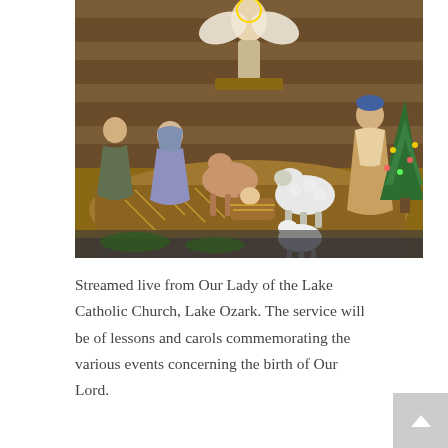[Figure (photo): A nativity scene with figurines including an angel, Mary, Joseph, baby Jesus in a manger, sheep, a deer, and a shepherd figure, set against a wooden barn backdrop with a Christmas tree on the right side.]
Streamed live from Our Lady of the Lake Catholic Church, Lake Ozark. The service will be of lessons and carols commemorating the various events concerning the birth of Our Lord.